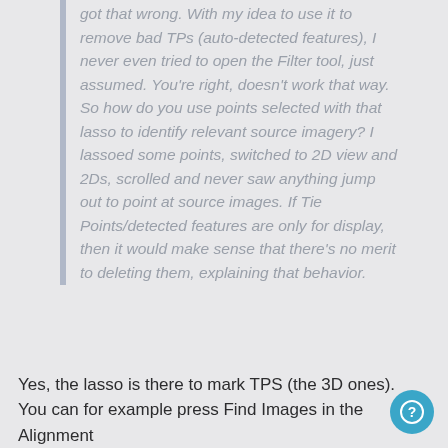got that wrong. With my idea to use it to remove bad TPs (auto-detected features), I never even tried to open the Filter tool, just assumed. You're right, doesn't work that way. So how do you use points selected with that lasso to identify relevant source imagery? I lassoed some points, switched to 2D view and 2Ds, scrolled and never saw anything jump out to point at source images. If Tie Points/detected features are only for display, then it would make sense that there's no merit to deleting them, explaining that behavior.
Yes, the lasso is there to mark TPS (the 3D ones). You can for example press Find Images in the Alignment